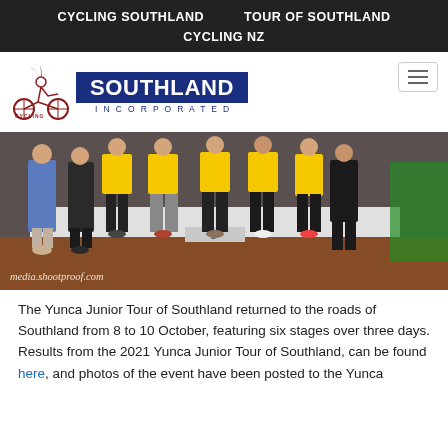CYCLING SOUTHLAND    TOUR OF SOUTHLAND
CYCLING NZ
[Figure (logo): Cycling Southland Incorporated logo with cyclist graphic and blue SOUTHLAND INCORPORATED banner]
[Figure (photo): Group of young cyclists in yellow jerseys standing on a podium at the Yunca Junior Tour of Southland awards ceremony. Watermark: media.shootproof.com]
The Yunca Junior Tour of Southland returned to the roads of Southland from 8 to 10 October, featuring six stages over three days.
Results from the 2021 Yunca Junior Tour of Southland, can be found here, and photos of the event have been posted to the Yunca